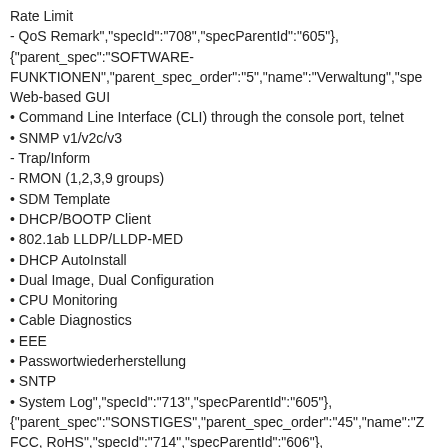Rate Limit
- QoS Remark","specId":"708","specParentId":"605"},
{"parent_spec":"SOFTWARE-FUNKTIONEN","parent_spec_order":"5","name":"Verwaltung","spe
Web-based GUI
• Command Line Interface (CLI) through the console port, telnet
• SNMP v1/v2c/v3
- Trap/Inform
- RMON (1,2,3,9 groups)
• SDM Template
• DHCP/BOOTP Client
• 802.1ab LLDP/LLDP-MED
• DHCP AutoInstall
• Dual Image, Dual Configuration
• CPU Monitoring
• Cable Diagnostics
• EEE
• Passwortwiederherstellung
• SNTP
• System Log","specId":"713","specParentId":"605"},
{"parent_spec":"SONSTIGES","parent_spec_order":"45","name":"Z
FCC, RoHS","specId":"714","specParentId":"606"},
{"parent_spec":"SONSTIGES","parent_spec_order":"45","name":"V
SG3210XHP-M2 Switch
• Kaltgerätekabel
• Schnellinstallationsanleitung